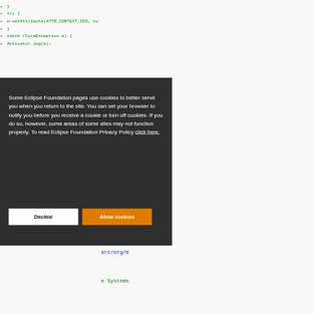[Figure (screenshot): A code diff view showing green added lines with + markers, displaying Java/Eclipse code with try-catch block and m.setAttribute call. Overlaid by a dark cookie consent banner popup with white text and two buttons: Decline (white) and Allow cookies (orange). Right side partially shows more code in blue/green. Bottom shows a copyright comment line.]
Some Eclipse Foundation pages use cookies to better serve you when you return to the site. You can set your browser to notify you before you receive a cookie or turn off cookies. If you do so, however, some areas of some sites may not function properly. To read Eclipse Foundation Privacy Policy click here.